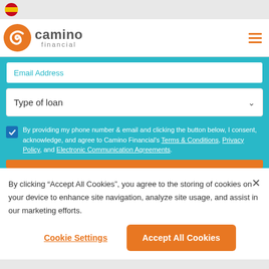[Figure (logo): Camino Financial logo with orange snail shell icon and gray text]
Email Address
Type of loan
By providing my phone number & email and clicking the button below, I consent, acknowledge, and agree to Camino Financial's Terms & Conditions, Privacy Policy, and Electronic Communication Agreements.
By clicking “Accept All Cookies”, you agree to the storing of cookies on your device to enhance site navigation, analyze site usage, and assist in our marketing efforts.
Cookie Settings
Accept All Cookies